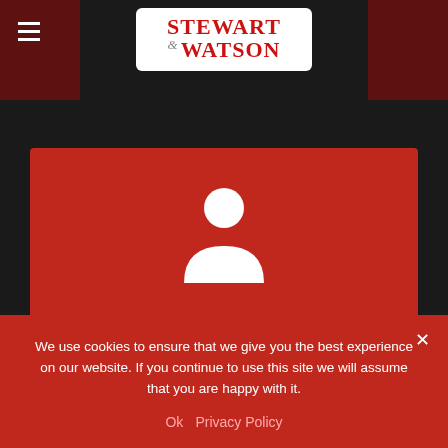[Figure (logo): Stewart & Watson law firm logo — red serif text on white rounded rectangle background]
[Figure (illustration): White person/user silhouette icon on red background card]
Immigration
We use cookies to ensure that we give you the best experience on our website. If you continue to use this site we will assume that you are happy with it.
Ok   Privacy Policy